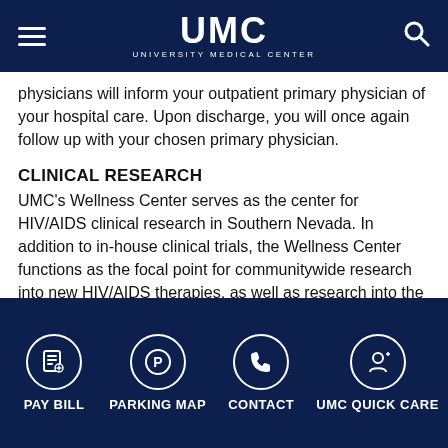UMC — University Medical Center
physicians will inform your outpatient primary physician of your hospital care. Upon discharge, you will once again follow up with your chosen primary physician.
CLINICAL RESEARCH
UMC's Wellness Center serves as the center for HIV/AIDS clinical research in Southern Nevada. In addition to in-house clinical trials, the Wellness Center functions as the focal point for communitywide research into new HIV/AIDS therapies, as well as research into the behavioral and psychosocial problems that affect people with HIV/AIDS.
This translation is provided by Google Translate. University Medical Center of Southern Nevada makes no
PAY BILL | PARKING MAP | CONTACT | UMC QUICK CARE